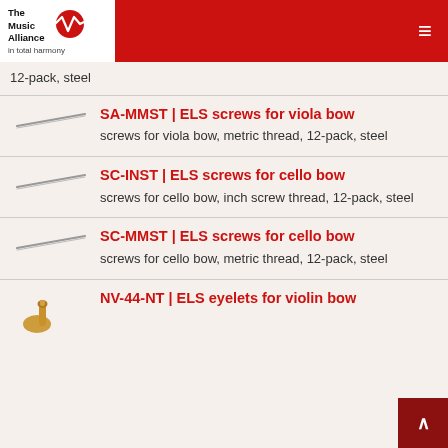The Music Alliance in total harmony
12-pack, steel
SA-MMST | ELS screws for viola bow
screws for viola bow, metric thread, 12-pack, steel
SC-INST | ELS screws for cello bow
screws for cello bow, inch screw thread, 12-pack, steel
SC-MMST | ELS screws for cello bow
screws for cello bow, metric thread, 12-pack, steel
NV-44-NT | ELS eyelets for violin bow